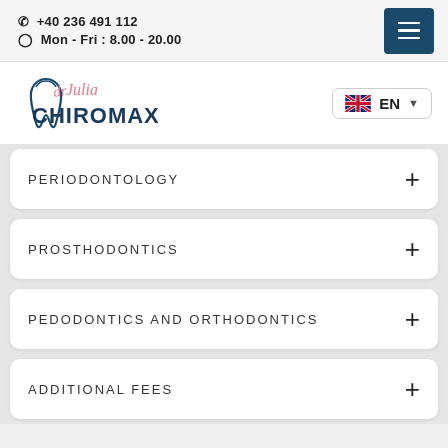📞 +40 236 491 112  🕐 Mon - Fri : 8.00 - 20.00
[Figure (logo): Dr Julia Chiromax dental clinic logo with tooth icon and script/sans-serif text]
EN (language selector with UK flag)
PERIODONTOLOGY
PROSTHODONTICS
PEDODONTICS AND ORTHODONTICS
ADDITIONAL FEES